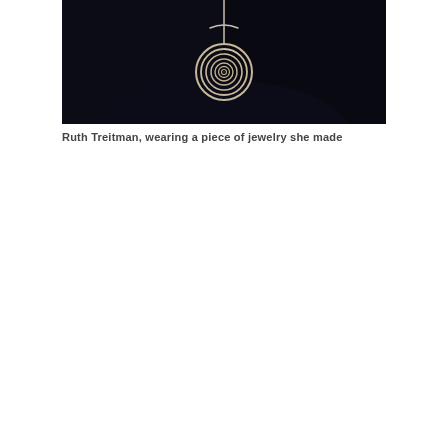[Figure (photo): A close-up photograph of a person wearing a handmade spiral wire pendant necklace against a dark (nearly black) background. The pendant is a circular coiled/spiral design in silver/metallic wire, hanging from a chain.]
Ruth Treitman, wearing a piece of jewelry she made